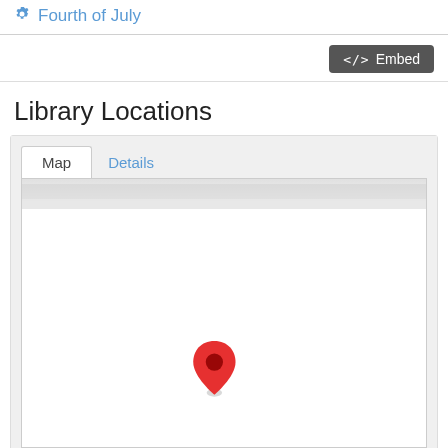Fourth of July
Embed
Library Locations
[Figure (map): Interactive map widget showing 'Map' and 'Details' tabs. The Map tab is active and displays a white map area with a red location pin marker in the center-lower portion of the map.]